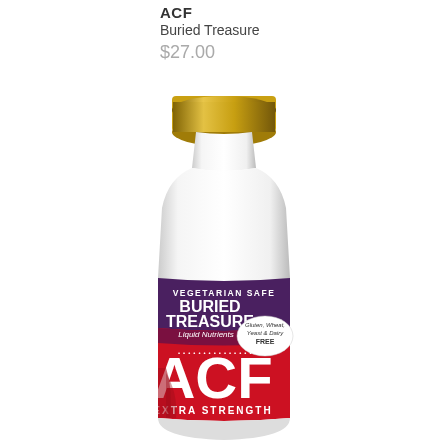ACF
Buried Treasure
$27.00
[Figure (photo): White bottle with gold cap. Label shows 'VEGETARIAN SAFE' at top in purple band, then 'BURIED TREASURE Liquid Nutrients' in white text on purple background. Lower red label section shows 'ACF' in large white letters and 'EXTRA STRENGTH' below. An oval badge reads 'Gluten, Wheat, Yeast & Dairy FREE'. Decorative dot border separates purple and red sections.]